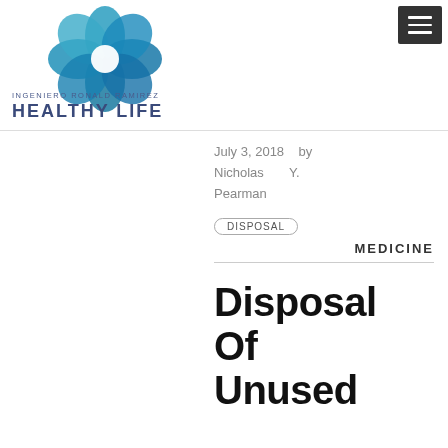[Figure (logo): Flower/petal logo made of overlapping teal/blue circles forming a floral shape]
INGENIERO RONALD RAMIREZ
HEALTHY LIFE
July 3, 2018  by Nicholas Y. Pearman
DISPOSAL
MEDICINE
Disposal Of Unused